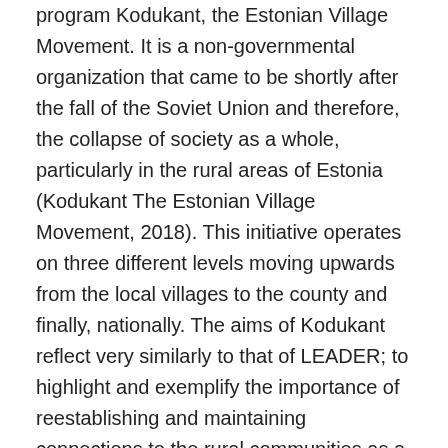program Kodukant, the Estonian Village Movement. It is a non-governmental organization that came to be shortly after the fall of the Soviet Union and therefore, the collapse of society as a whole, particularly in the rural areas of Estonia (Kodukant The Estonian Village Movement, 2018). This initiative operates on three different levels moving upwards from the local villages to the county and finally, nationally. The aims of Kodukant reflect very similarly to that of LEADER; to highlight and exemplify the importance of reestablishing and maintaining connections to the rural communities as a way of preservation of rural heritage, traditions and culture, the local economy, networking and communications as well as the growth and development of rural areas (Kodukant, the Estonian Village Movement, 2018).